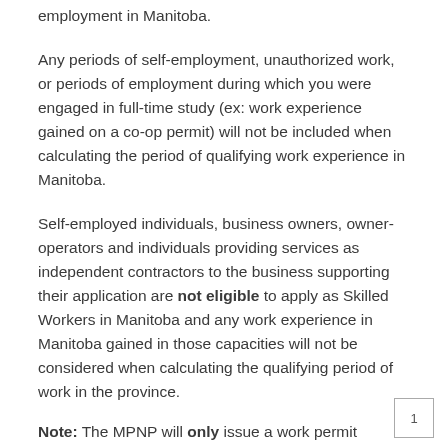employment in Manitoba.
Any periods of self-employment, unauthorized work, or periods of employment during which you were engaged in full-time study (ex: work experience gained on a co-op permit) will not be included when calculating the period of qualifying work experience in Manitoba.
Self-employed individuals, business owners, owner-operators and individuals providing services as independent contractors to the business supporting their application are not eligible to apply as Skilled Workers in Manitoba and any work experience in Manitoba gained in those capacities will not be considered when calculating the qualifying period of work in the province.
1
Note: The MPNP will only issue a work permit